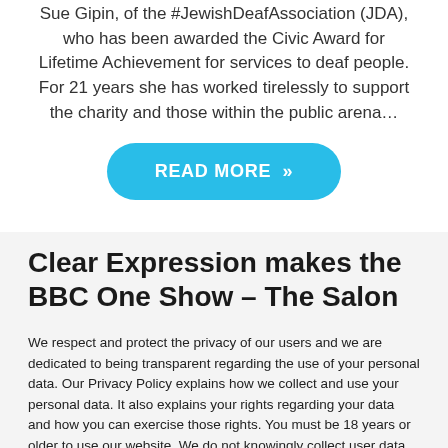Sue Gipin, of the #JewishDeafAssociation (JDA), who has been awarded the Civic Award for Lifetime Achievement for services to deaf people. For 21 years she has worked tirelessly to support the charity and those within the public arena…
[Figure (other): Blue rounded rectangle button with white text reading 'READ MORE »']
Clear Expression makes the BBC One Show – The Salon
We respect and protect the privacy of our users and we are dedicated to being transparent regarding the use of your personal data. Our Privacy Policy explains how we collect and use your personal data. It also explains your rights regarding your data and how you can exercise those rights. You must be 18 years or older to use our website. We do not knowingly collect user data from minors.